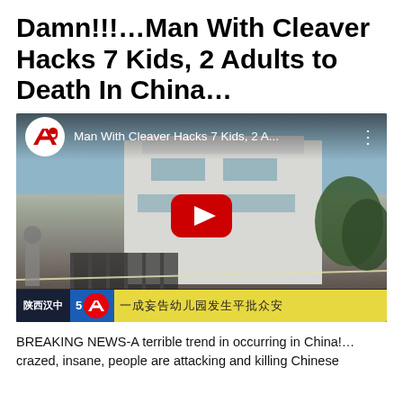Damn!!!…Man With Cleaver Hacks 7 Kids, 2 Adults to Death In China…
[Figure (screenshot): YouTube video embed thumbnail showing AP News video titled 'Man With Cleaver Hacks 7 Kids, 2 A...' with a play button overlay on a scene of a white building in China. AP logo in upper left. Bottom bar shows location '陕西汉中' and Chinese text ticker.]
BREAKING NEWS-A terrible trend in occurring in China!… crazed, insane, people are attacking and killing Chinese